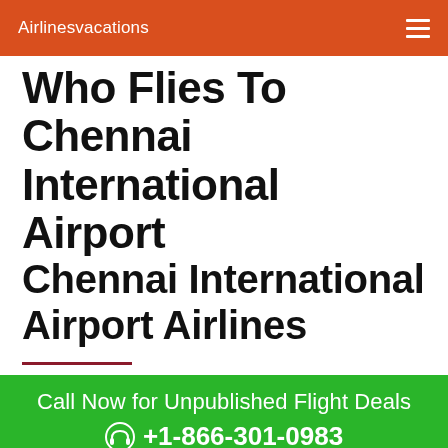Airlinesvacations
Who Flies To Chennai International Airport
Chennai International Airport Airlines
Call Now for Unpublished Flight Deals
+1-866-301-0983